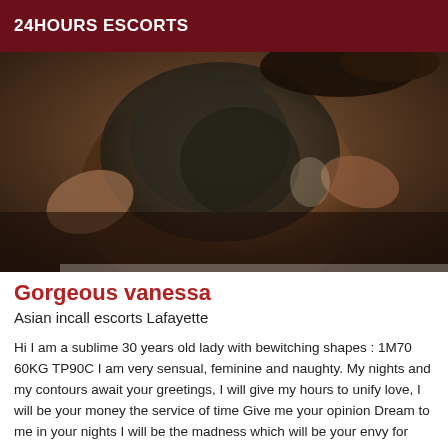24HOURS ESCORTS
[Figure (photo): Photo of a person wearing dark lace/patterned clothing, cropped view showing torso and back, dark warm tones]
Gorgeous vanessa
Asian incall escorts Lafayette
Hi I am a sublime 30 years old lady with bewitching shapes : 1M70 60KG TP90C I am very sensual, feminine and naughty. My nights and my contours await your greetings, I will give my hours to unify love, I will be your money the service of time Give me your opinion Dream to me in your nights I will be the madness which will be your envy for that you will have to seek to seduce